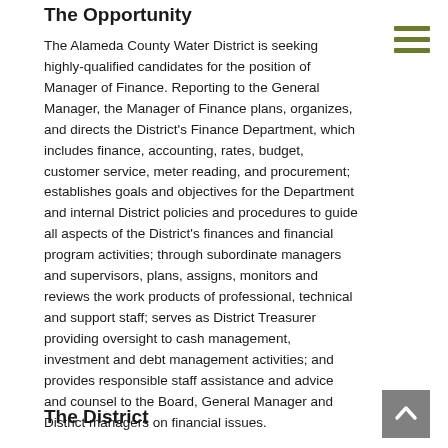The Opportunity
The Alameda County Water District is seeking highly-qualified candidates for the position of Manager of Finance. Reporting to the General Manager, the Manager of Finance plans, organizes, and directs the District's Finance Department, which includes finance, accounting, rates, budget, customer service, meter reading, and procurement; establishes goals and objectives for the Department and internal District policies and procedures to guide all aspects of the District's finances and financial program activities; through subordinate managers and supervisors, plans, assigns, monitors and reviews the work products of professional, technical and support staff; serves as District Treasurer providing oversight to cash management, investment and debt management activities; and provides responsible staff assistance and advice and counsel to the Board, General Manager and District managers on financial issues.
The District